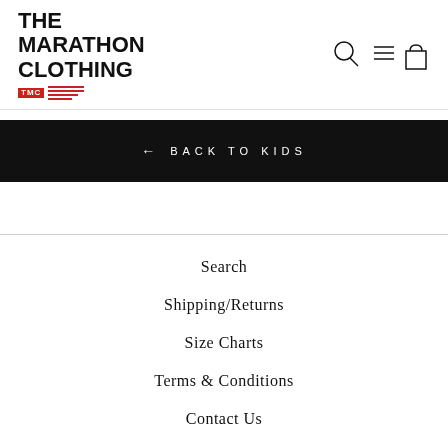[Figure (logo): The Marathon Clothing logo with TMC badge and red stripes]
[Figure (other): Navigation icons: search magnifier, menu hamburger, shopping bag]
← BACK TO KIDS
Search
Shipping/Returns
Size Charts
Terms & Conditions
Contact Us